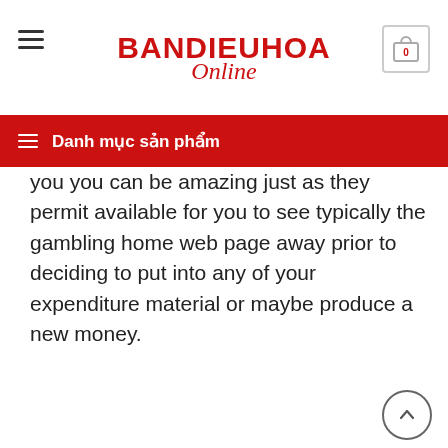BANDIEUHOA Online
Danh mục sản phẩm
you you can be amazing just as they permit available for you to see typically the gambling home web page away prior to deciding to put into any of your expenditure material or maybe produce a new money.
[Figure (infographic): Row of six social sharing icon circles: WhatsApp, Facebook, Twitter, Email, Pinterest, LinkedIn]
This entry was posted in Uncategorized. Bookmark the permalink.
ADMIN